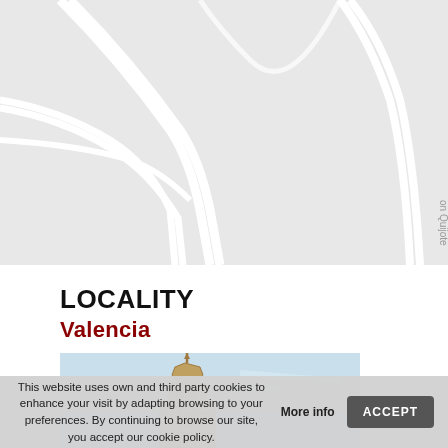[Figure (map): Street map showing road intersections with light grey background and white road paths. Partial text 'on Quijote' visible on right edge rotated vertically.]
LOCALITY
Valencia
[Figure (photo): Photo of a stone bell tower / church tower under a light blue sky, partially visible, cut off at bottom.]
This website uses own and third party cookies to enhance your visit by adapting browsing to your preferences. By continuing to browse our site, you accept our cookie policy.